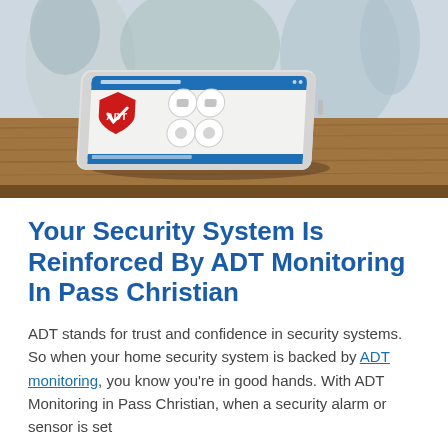[Figure (photo): Photo of an ADT security system tablet/touchpad device propped on a wooden table. The white touchscreen panel shows an ADT shield logo in red and white, with circular control buttons on the screen and a blue bar at the bottom. The background shows a blurred indoor home setting with people out of focus.]
Your Security System Is Reinforced By ADT Monitoring In Pass Christian
ADT stands for trust and confidence in security systems. So when your home security system is backed by ADT monitoring, you know you're in good hands. With ADT Monitoring in Pass Christian, when a security alarm or sensor is set...